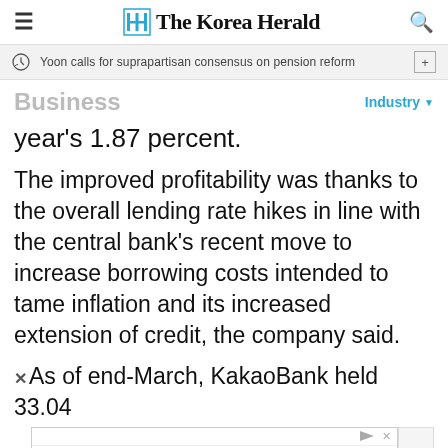The Korea Herald
Yoon calls for suprapartisan consensus on pension reform
Business
Industry
year's 1.87 percent.
The improved profitability was thanks to the overall lending rate hikes in line with the central bank's recent move to increase borrowing costs intended to tame inflation and its increased extension of credit, the company said.
As of end-March, KakaoBank held 33.04